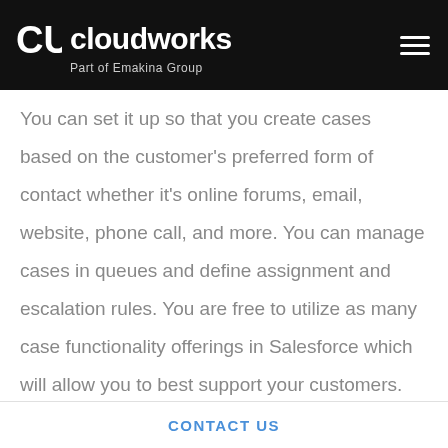cloudworks – Part of Emakina Group
You can set it up so that you create cases based on the customer's preferred form of contact whether it's online forums, email, website, phone call, and more. You can manage cases in queues and define assignment and escalation rules. You are free to utilize as many case functionality offerings in Salesforce which will allow you to best support your customers.
How to Handle a Case
CONTACT US